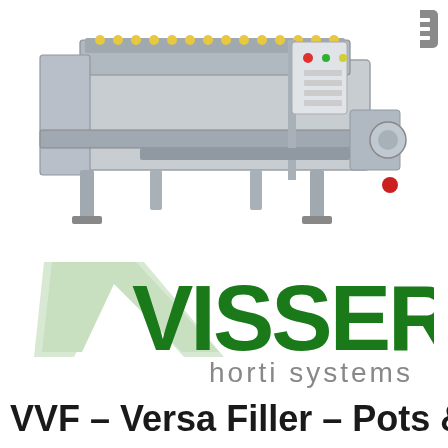[Figure (photo): Industrial potting machine (VVF Versa Filler) in grey/silver color, a large conveyor-based soil filling machine with control panel on the right side, photographed against a white background.]
[Figure (logo): Visser Horti Systems logo — large green VISSER text with a light green V chevron/arrow shape to the left, and 'horti systems' in grey below.]
VVF – Versa Filler – Pots &